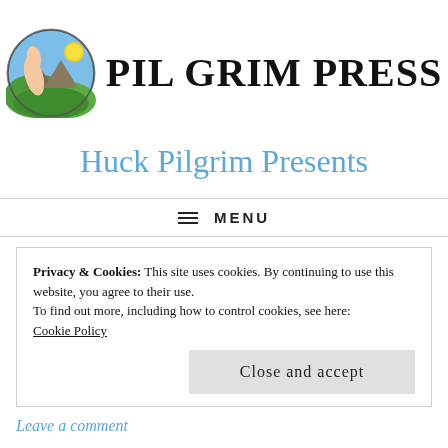[Figure (logo): Pilgrim Press logo: circular illustration of a hand/figure with mountains and sun, next to bold text reading PILGRIM PRESS]
Huck Pilgrim Presents
≡ MENU
Privacy & Cookies: This site uses cookies. By continuing to use this website, you agree to their use.
To find out more, including how to control cookies, see here:
Cookie Policy
Close and accept
Leave a comment